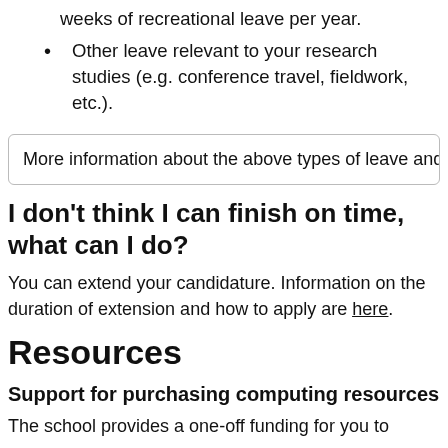weeks of recreational leave per year.
Other leave relevant to your research studies (e.g. conference travel, fieldwork, etc.).
More information about the above types of leave and
I don’t think I can finish on time, what can I do?
You can extend your candidature. Information on the duration of extension and how to apply are here.
Resources
Support for purchasing computing resources
The school provides a one-off funding for you to